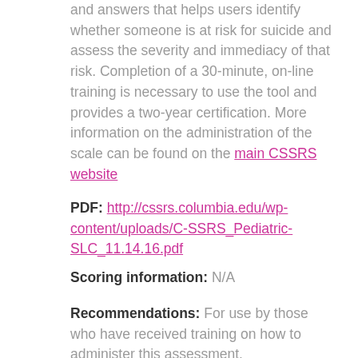and answers that helps users identify whether someone is at risk for suicide and assess the severity and immediacy of that risk. Completion of a 30-minute, on-line training is necessary to use the tool and provides a two-year certification. More information on the administration of the scale can be found on the main CSSRS website
PDF: http://cssrs.columbia.edu/wp-content/uploads/C-SSRS_Pediatric-SLC_11.14.16.pdf
Scoring information: N/A
Recommendations: For use by those who have received training on how to administer this assessment. https://practiceinnovations.org/resources/sc